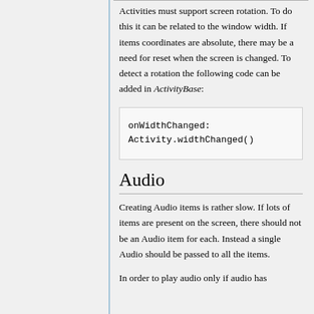Activities must support screen rotation. To do this it can be related to the window width. If items coordinates are absolute, there may be a need for reset when the screen is changed. To detect a rotation the following code can be added in ActivityBase:
Audio
Creating Audio items is rather slow. If lots of items are present on the screen, there should not be an Audio item for each. Instead a single Audio should be passed to all the items.
In order to play audio only if audio has